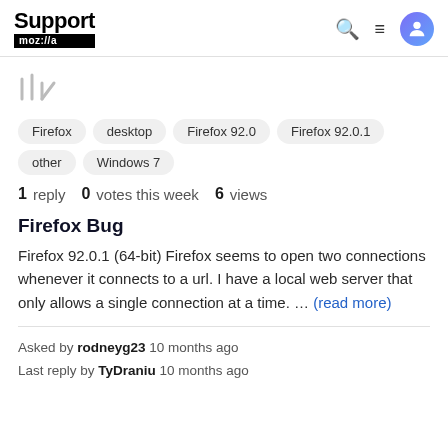Support mozilla//a
[Figure (other): Breadcrumb / library icon lines]
Firefox
desktop
Firefox 92.0
Firefox 92.0.1
other
Windows 7
1 reply   0 votes this week   6 views
Firefox Bug
Firefox 92.0.1 (64-bit) Firefox seems to open two connections whenever it connects to a url. I have a local web server that only allows a single connection at a time. … (read more)
Asked by rodneyg23 10 months ago
Last reply by TyDraniu 10 months ago